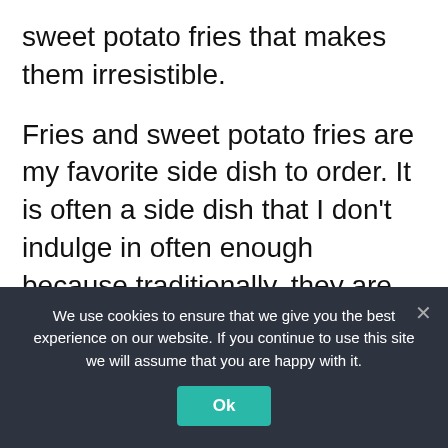sweet potato fries that makes them irresistible.
Fries and sweet potato fries are my favorite side dish to order. It is often a side dish that I don't indulge in often enough because traditionally, they are deep-fried. When I discover air fryer sweet potato fries, you know I indulge in this side dish often. Sometimes, I even enjoy them as a snack.
Because air fryer sweet potato fries using air frying technology and completely oil-less, they
We use cookies to ensure that we give you the best experience on our website. If you continue to use this site we will assume that you are happy with it.
Ok